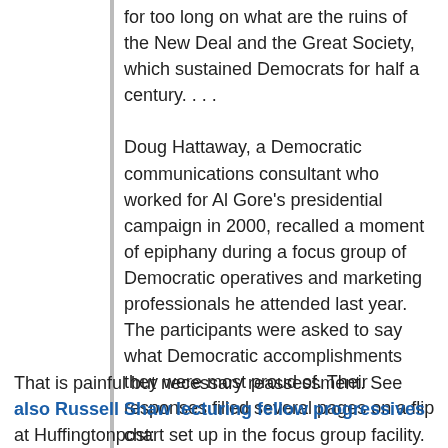for too long on what are the ruins of the New Deal and the Great Society, which sustained Democrats for half a century. . . .
Doug Hattaway, a Democratic communications consultant who worked for Al Gore's presidential campaign in 2000, recalled a moment of epiphany during a focus group of Democratic operatives and marketing professionals he attended last year. The participants were asked to say what Democratic accomplishments they were most proud of. Their responses filled several pages on a flip chart set up in the focus group facility. “We all realized there was nothing there within the past 30 years,” Hattaway said.
That is painful but necessary reassessment. See also Russell Shaw lecturing fellow progressives at Huffingtonpost: